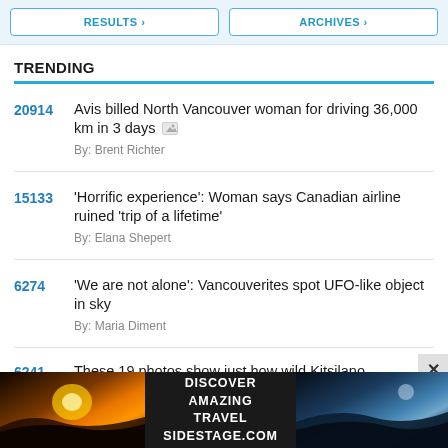RESULTS > | ARCHIVES >
TRENDING
20914 Avis billed North Vancouver woman for driving 36,000 km in 3 days By: Brent Richter
15133 'Horrific experience': Woman says Canadian airline ruined 'trip of a lifetime' By: Elana Shepert
6274 'We are not alone': Vancouverites spot UFO-like object in sky By: Maria Diment
6241 These 19 photos show just how wild Kitsilano
[Figure (photo): Advertisement banner for Sidestage.com with sunset travel imagery and text: DISCOVER AMAZING TRAVEL SIDESTAGE.COM]